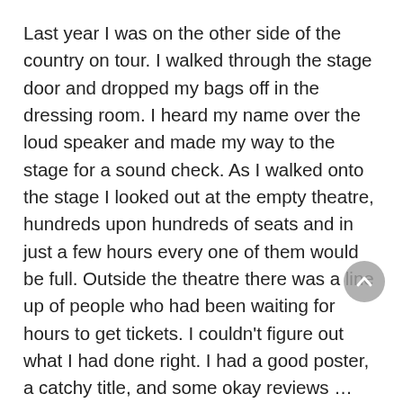Last year I was on the other side of the country on tour. I walked through the stage door and dropped my bags off in the dressing room. I heard my name over the loud speaker and made my way to the stage for a sound check. As I walked onto the stage I looked out at the empty theatre, hundreds upon hundreds of seats and in just a few hours every one of them would be full. Outside the theatre there was a line up of people who had been waiting for hours to get tickets. I couldn't figure out what I had done right. I had a good poster, a catchy title, and some okay reviews … but I'd had that before and gotten nothing.
That night, as I got ready, I found myself getting nervous. I couldn't get settled and comfortable. I think the size of the audience and the expectation was shaking my confidence, but at five minutes to show time, there's no turning back. It's